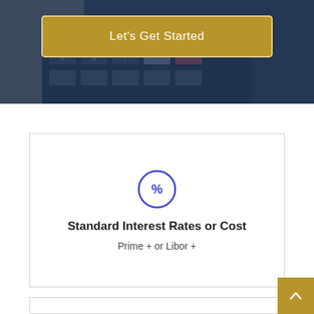[Figure (photo): Hero banner with dark navy overlay over a calculator image, containing a gold 'Let's Get Started' button]
Let's Get Started
[Figure (infographic): White card with a blue percentage sign icon in a circle, titled 'Standard Interest Rates or Cost' with subtitle 'Prime + or Libor +']